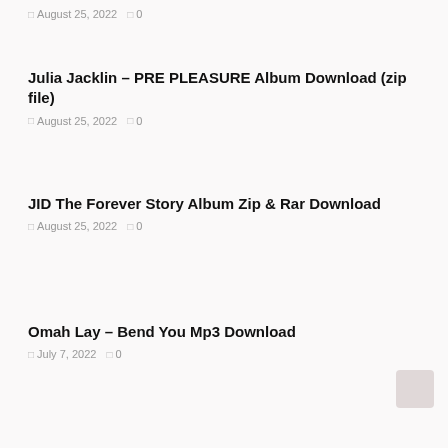August 25, 2022   0
Julia Jacklin – PRE PLEASURE Album Download (zip file)
August 25, 2022   0
JID The Forever Story Album Zip & Rar Download
August 25, 2022   0
Omah Lay – Bend You Mp3 Download
July 7, 2022   0